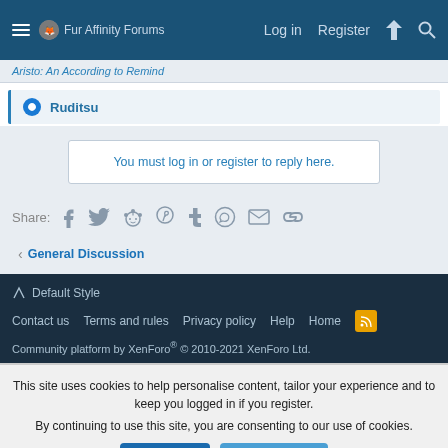Fur Affinity Forums | Log in | Register
Aristo: An According to Remind
Ruditsu
You must log in or register to reply here.
Share:
General Discussion
Default Style
Contact us   Terms and rules   Privacy policy   Help   Home
Community platform by XenForo® © 2010-2021 XenForo Ltd.
This site uses cookies to help personalise content, tailor your experience and to keep you logged in if you register. By continuing to use this site, you are consenting to our use of cookies.